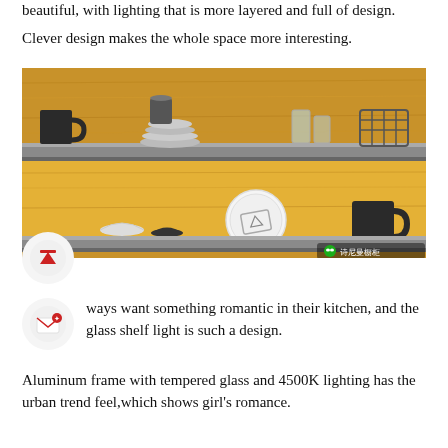beautiful, with lighting that is more layered and full of design.
Clever design makes the whole space more interesting.
[Figure (photo): Kitchen wooden shelving unit with warm LED undershelf lighting. Upper shelf has bowls, glasses, and a wire basket. Lower lit shelf contains decorative plate, small bowls, and a black mug. Watermark reads: WeChat icon followed by Chinese characters 诗尼曼橱柜.]
ways want something romantic in their kitchen, and the glass shelf light is such a design.
Aluminum frame with tempered glass and 4500K lighting has the urban trend feel,which shows girl's romance.